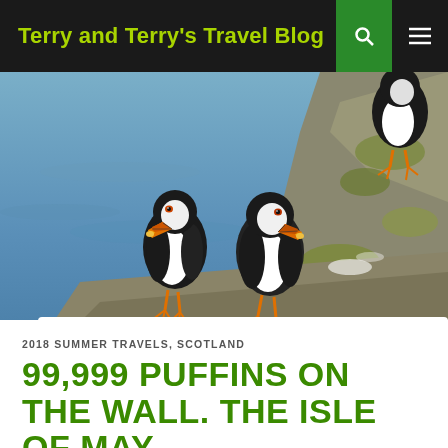Terry and Terry's Travel Blog
[Figure (photo): Two Atlantic puffins standing on rocky cliff ledge facing each other, with a third puffin partially visible in the upper right. Rocky coastline with blue water in background.]
2018 SUMMER TRAVELS, SCOTLAND
99,999 PUFFINS ON THE WALL. THE ISLE OF MAY
JULY 25, 2018   TERRY HARRISON